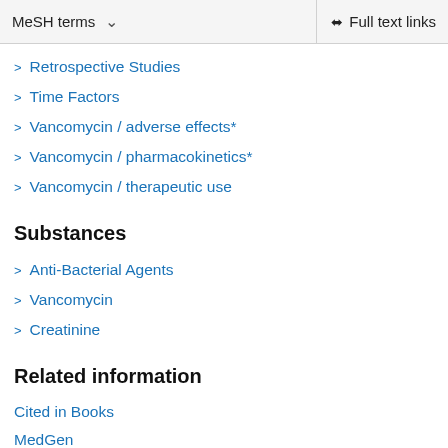MeSH terms   Full text links
Retrospective Studies
Time Factors
Vancomycin / adverse effects*
Vancomycin / pharmacokinetics*
Vancomycin / therapeutic use
Substances
Anti-Bacterial Agents
Vancomycin
Creatinine
Related information
Cited in Books
MedGen
PubChem Compound